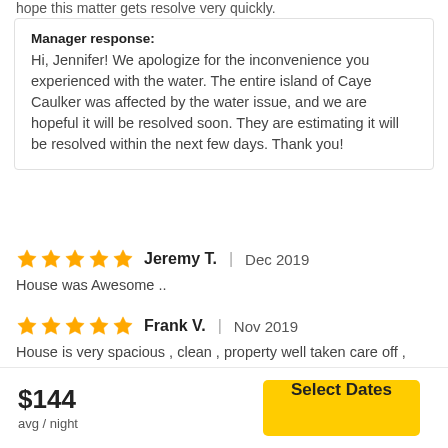hope this matter gets resolve very quickly.
Manager response: Hi, Jennifer! We apologize for the inconvenience you experienced with the water. The entire island of Caye Caulker was affected by the water issue, and we are hopeful it will be resolved soon. They are estimating it will be resolved within the next few days. Thank you!
Jeremy T. | Dec 2019
House was Awesome ..
Frank V. | Nov 2019
House is very spacious , clean , property well taken care off , after a long day , we were welcomed by Raul , with couple welcoming chocolates , which made a very welcoming impression.
$144 avg / night
Select Dates